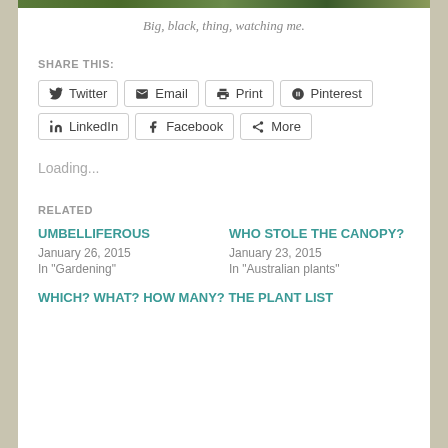[Figure (photo): Top strip of a nature/garden photo showing foliage]
Big, black, thing, watching me.
SHARE THIS:
Twitter | Email | Print | Pinterest | LinkedIn | Facebook | More (share buttons)
Loading...
RELATED
UMBELLIFEROUS
January 26, 2015
In "Gardening"
WHO STOLE THE CANOPY?
January 23, 2015
In "Australian plants"
WHICH? WHAT? HOW MANY? THE PLANT LIST